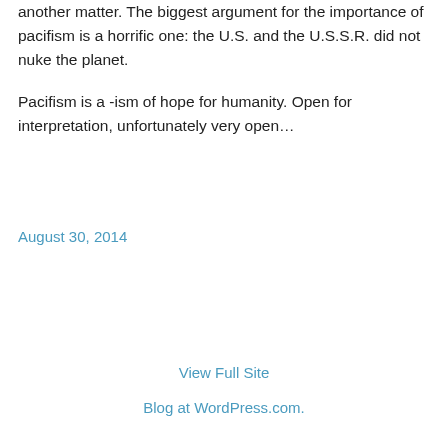another matter. The biggest argument for the importance of pacifism is a horrific one: the U.S. and the U.S.S.R. did not nuke the planet.

Pacifism is a -ism of hope for humanity. Open for interpretation, unfortunately very open…
August 30, 2014
View Full Site
Blog at WordPress.com.